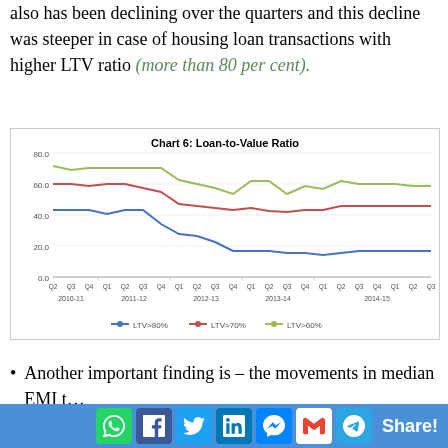also has been declining over the quarters and this decline was steeper in case of housing loan transactions with higher LTV ratio (more than 80 per cent).
[Figure (line-chart): Chart 6: Loan-to-Value Ratio]
Another important finding is – the movements in median EMI t…